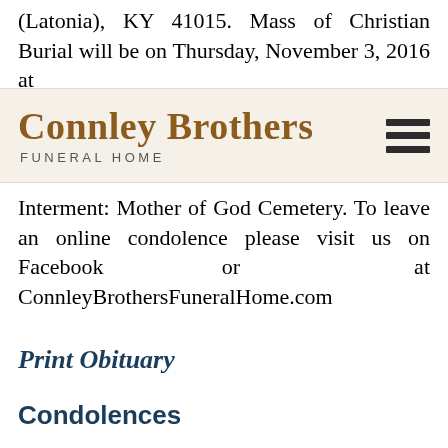(Latonia), KY 41015. Mass of Christian Burial will be on Thursday, November 3, 2016 at
[Figure (logo): Connley Brothers Funeral Home logo with hamburger menu icon on the right]
Interment: Mother of God Cemetery. To leave an online condolence please visit us on Facebook or at ConnleyBrothersFuneralHome.com
Print Obituary
Condolences